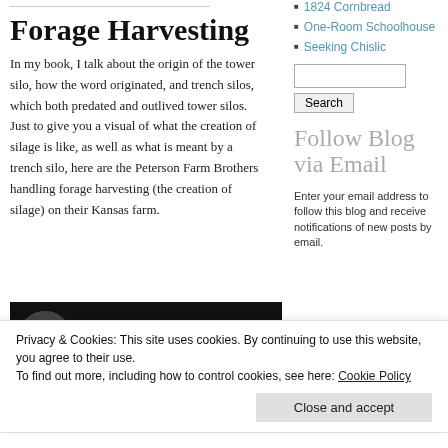Forage Harvesting
In my book, I talk about the origin of the tower silo, how the word originated, and trench silos, which both predated and outlived tower silos. Just to give you a visual of what the creation of silage is like, as well as what is meant by a trench silo, here are the Peterson Farm Brothers handling forage harvesting (the creation of silage) on their Kansas farm.
[Figure (screenshot): Video thumbnail showing Forage Harvest with a group photo avatar on a dark background]
1824 Cornbread
One-Room Schoolhouse
Seeking Chislic
Follow Blog via Email
Enter your email address to follow this blog and receive notifications of new posts by email.
Privacy & Cookies: This site uses cookies. By continuing to use this website, you agree to their use.
To find out more, including how to control cookies, see here: Cookie Policy
Close and accept